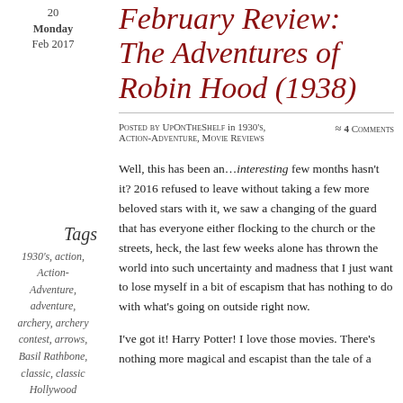Monday
Feb 2017
February Review: The Adventures of Robin Hood (1938)
Posted by UpOnTheShelf in 1930's, Action-Adventure, Movie Reviews
≈ 4 Comments
Well, this has been an...interesting few months hasn't it? 2016 refused to leave without taking a few more beloved stars with it, we saw a changing of the guard that has everyone either flocking to the church or the streets, heck, the last few weeks alone has thrown the world into such uncertainty and madness that I just want to lose myself in a bit of escapism that has nothing to do with what's going on outside right now.
Tags
1930's, action, Action-Adventure, adventure, archery, archery contest, arrows, Basil Rathbone, classic, classic Hollywood
I've got it! Harry Potter! I love those movies. There's nothing more magical and escapist than the tale of a